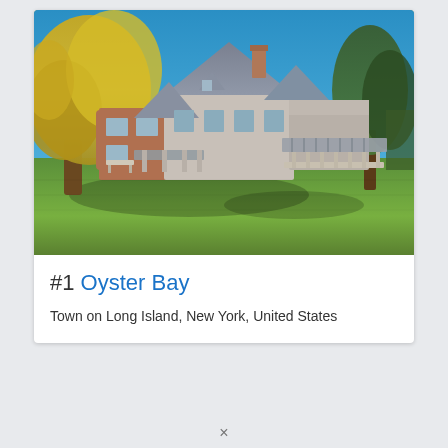[Figure (photo): Photograph of a historic house with Victorian/shingle-style architecture on Long Island. The house has dark gray roof gables, a covered porch with striped awning, brick and wood siding. A large yellow autumn tree is on the left, green trees on the right. Blue sky background, green lawn in foreground with shadows.]
#1 Oyster Bay
Town on Long Island, New York, United States